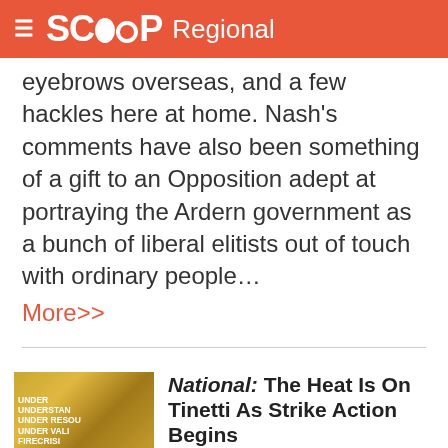SCOOP Regional
eyebrows overseas, and a few hackles here at home. Nash’s comments have also been something of a gift to an Opposition adept at portraying the Ardern government as a bunch of liberal elitists out of touch with ordinary people…
More>>
[Figure (photo): Thumbnail image of a protest sign with text UNDER, UNDERSTAN, UNDER RESOU, UNDER VALI, FIREFIGHTE, FIRECRISI visible in yellow/orange]
National: The Heat Is On Tinetti As Strike Action Begins
The heat is on Internal Affairs Minister Jan Tinetti to front up and speak to firefighters on the government’s contested...